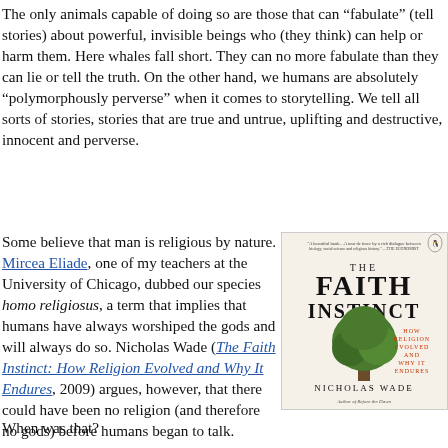The only animals capable of doing so are those that can “fabulate” (tell stories) about powerful, invisible beings who (they think) can help or harm them. Here whales fall short. They can no more fabulate than they can lie or tell the truth. On the other hand, we humans are absolutely “polymorphously perverse” when it comes to storytelling. We tell all sorts of stories, stories that are true and untrue, uplifting and destructive, innocent and perverse.
Some believe that man is religious by nature. Mircea Eliade, one of my teachers at the University of Chicago, dubbed our species homo religiosus, a term that implies that humans have always worshiped the gods and will always do so. Nicholas Wade (The Faith Instinct: How Religion Evolved and Why It Endures, 2009) argues, however, that there could have been no religion (and therefore no gods) before humans began to talk.
[Figure (photo): Book cover of 'The Faith Instinct: How Religion Evolved and Why It Endures' by Nicholas Wade, showing a tree illustration on the cover.]
When was that?